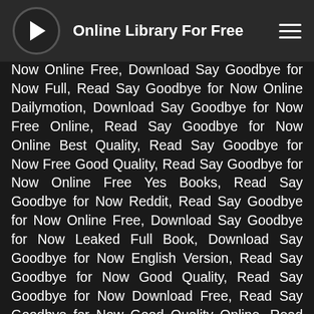Online Library For Free
Now Online Free, Download Say Goodbye for Now Full, Read Say Goodbye for Now Online Dailymotion, Download Say Goodbye for Now Free Online, Read Say Goodbye for Now Online Best Quality, Read Say Goodbye for Now Free Good Quality, Read Say Goodbye for Now Online Free Yes Books, Read Say Goodbye for Now Reddit, Read Say Goodbye for Now Online Free, Download Say Goodbye for Now Leaked Full Book, Download Say Goodbye for Now English Version, Read Say Goodbye for Now Good Quality, Read Say Goodbye for Now Download Free, Read Say Goodbye for Now Good Quality Online, Read Say Goodbye for Now Free Reddit, Download Say Goodbye for Now Good Quality, Download Say Goodbye for Now No Sign Up, Read Say Goodbye for Now Online Unblocked, Download Say Goodbye for Now English , Read Say Goodbye for Now